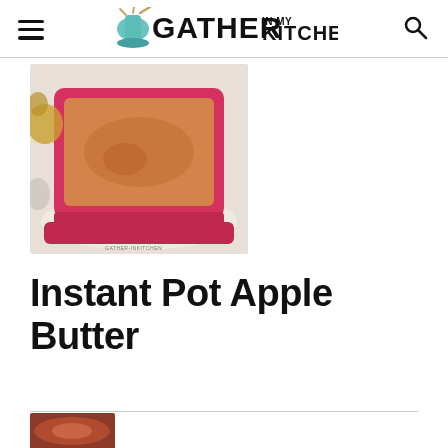GATHER IN MY KITCHEN — navigation header with hamburger menu and search icon
[Figure (photo): Apple butter in a pink square ceramic bowl on a decorative plate, with apples visible in the background. Watermark reads GATHER IN KITCHEN.]
Instant Pot Apple Butter